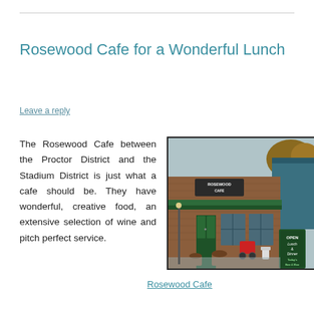Rosewood Cafe for a Wonderful Lunch
Leave a reply
The Rosewood Cafe between the Proctor District and the Stadium District is just what a cafe should be. They have wonderful, creative food, an extensive selection of wine and pitch perfect service.
[Figure (photo): Exterior photo of Rosewood Cafe, a brick building with green awnings and trim, an 'OPEN Lunch & Dinner' sandwich board sign, and a red stroller/bike parked outside. Wet pavement suggests rainy day.]
Rosewood Cafe